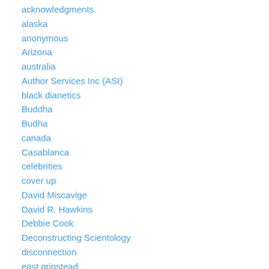acknowledgments
alaska
anonymous
Arizona
australia
Author Services Inc (ASI)
black dianetics
Buddha
Budha
canada
Casablanca
celebrities
cover up
David Miscavige
David R. Hawkins
Debbie Cook
Deconstructing Scientology
disconnection
east grinstead
ethics